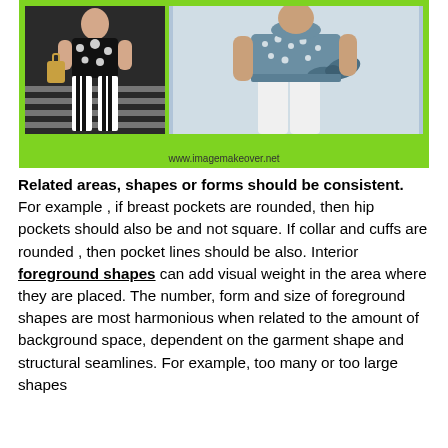[Figure (photo): Two fashion photos on a bright green background. Left photo shows a person wearing black and white striped wide-leg pants with a polka dot top. Right photo shows a person in a blue/grey blouse with floral embellishments tied at the waist, with white pants. URL www.imagemakeover.net shown below photos.]
Related areas, shapes or forms should be consistent. For example , if breast pockets are rounded, then hip pockets should also be and not square. If collar and cuffs are rounded , then pocket lines should be also. Interior foreground shapes can add visual weight in the area where they are placed. The number, form and size of foreground shapes are most harmonious when related to the amount of background space, dependent on the garment shape and structural seamlines. For example, too many or too large shapes